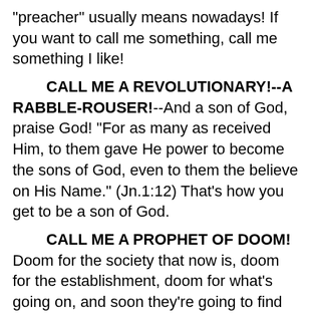"preacher" usually means nowadays! If you want to call me something, call me something I like!
CALL ME A REVOLUTIONARY!--A RABBLE-ROUSER!--And a son of God, praise God! "For as many as received Him, to them gave He power to become the sons of God, even to them the believe on His Name." (Jn.1:12) That's how you get to be a son of God.
CALL ME A PROPHET OF DOOM! Doom for the society that now is, doom for the establishment, doom for what's going on, and soon they're going to find out that you're going to tune in, tune on and take over! Just do it right, do it the right way, do it for God, do it for Jesus Christ.
THE ROMAN EMPIRE LASTED FOR A